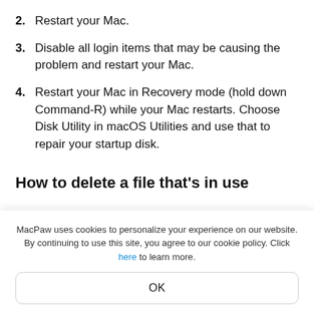2. Restart your Mac.
3. Disable all login items that may be causing the problem and restart your Mac.
4. Restart your Mac in Recovery mode (hold down Command-R) while your Mac restarts. Choose Disk Utility in macOS Utilities and use that to repair your startup disk.
How to delete a file that's in use
MacPaw uses cookies to personalize your experience on our website. By continuing to use this site, you agree to our cookie policy. Click here to learn more.
OK